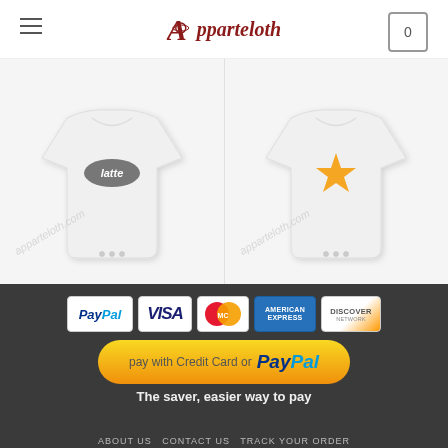Apparcloth
[Figure (photo): Two baby onesie product images side by side - left shows Breast milk latte design, right shows Adventure Time Jack design]
ONESIE
Breast milk latte Funny Baby Onesie
$14.00 – $15.00
ONESIE
Adventure Time Jack and Fine Funny Baby Onesie
$14.00 – $15.00
[Figure (infographic): Payment options: PayPal, VISA, MasterCard, American Express, Discover. Pay with Credit Card or PayPal button. Text: The saver, easier way to pay]
ABOUT US   CONTACT US   TRACK YOUR ORDER